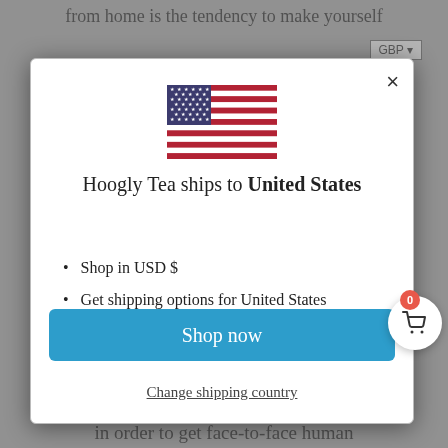from home is the tendency to make yourself
[Figure (screenshot): A modal dialog popup on a website showing the US flag, text 'Hoogly Tea ships to United States', bullet points 'Shop in USD $' and 'Get shipping options for United States', a blue 'Shop now' button, and a 'Change shipping country' link. There is a cart icon with badge showing 0 in the top right corner outside the modal.]
in order to get face-to-face human